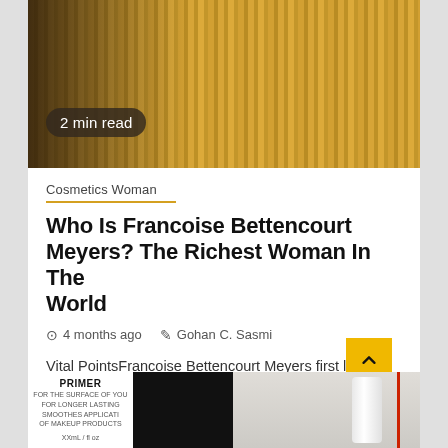[Figure (photo): Top portion of an article card showing a decorative wooden panel background with vertical grooves in warm golden-brown tones, with a '2 min read' badge overlay.]
2 min read
Cosmetics Woman
Who Is Francoise Bettencourt Meyers? The Richest Woman In The World
4 months ago   Gohan C. Sasmi
Vital PointsFrancoise Bettencourt Meyers first landed on the Forbes billionaires list after her mom passed absentBettencourt Meyers and her relatives reportedly have around 33% of L'Oreal...
[Figure (photo): Bottom strip of the page showing a cosmetics/primer product image on a dark background with a white cylindrical container and red line accent.]